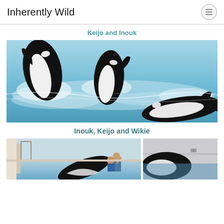Inherently Wild
Keijo and Inouk
[Figure (photo): Three orca killer whales swimming in bright blue water, two spy-hopping with heads above water and one swimming horizontally in the foreground]
Inouk, Keijo and Wikie
[Figure (photo): Partial view of facility pool area with orca and trainer interacting, split into two frames]